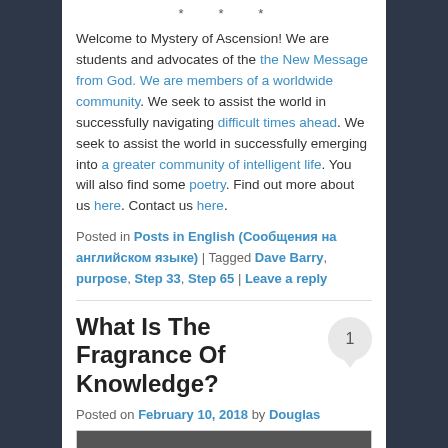* * *
Welcome to Mystery of Ascension! We are students and advocates of the the New Message from God. We are members of a worldwide community. We seek to assist the world in successfully navigating difficult times ahead. We seek to assist the world in successfully emerging into a greater community of intelligent life. You will also find some poetry. Find out more about us here. Contact us here.
Posted in Posts in English (Сообщения на английском языке) | Tagged Dave Barry, purpose, Step 33, Step 65 | Leave a reply
What Is The Fragrance Of Knowledge?
Posted on February 10, 2018 by Douglas
[Figure (photo): Partial photo visible at bottom of page]